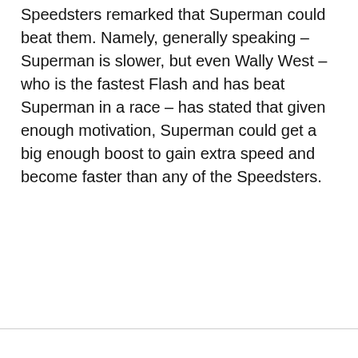Speedsters remarked that Superman could beat them. Namely, generally speaking – Superman is slower, but even Wally West – who is the fastest Flash and has beat Superman in a race – has stated that given enough motivation, Superman could get a big enough boost to gain extra speed and become faster than any of the Speedsters.